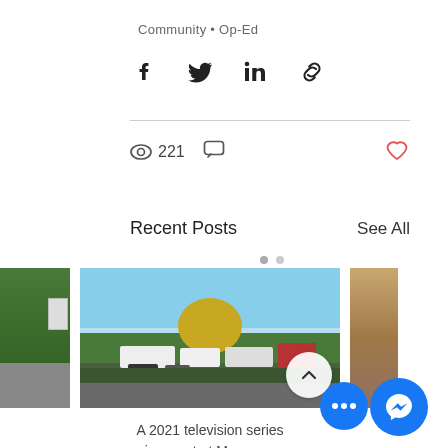Community • Op-Ed
[Figure (other): Social sharing icons: Facebook, Twitter, LinkedIn, Link]
221
[Figure (photo): Outdoor scene with trailers, vehicles, trees and sky — TV production set at Morgan]
Recent Posts
See All
A 2021 television series is on set at Morgan...